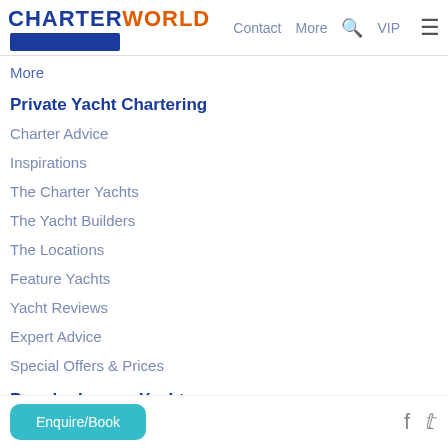CHARTERWORLD — Contact More VIP
More
Private Yacht Chartering
Charter Advice
Inspirations
The Charter Yachts
The Yacht Builders
The Locations
Feature Yachts
Yacht Reviews
Expert Advice
Special Offers & Prices
Popular Luxury Yachts
86M CUSTOM LUXURY YACHT
TOP FIVE II